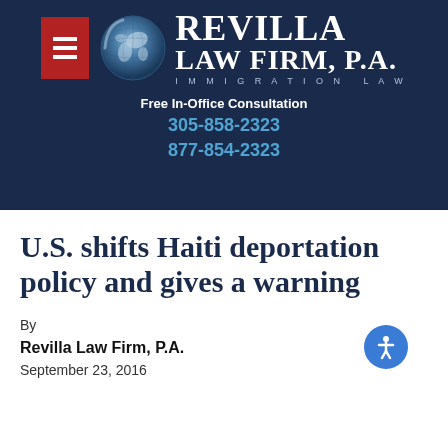[Figure (logo): Revilla Law Firm, P.A. header banner with globe logo, hamburger menu icon, firm name, immigration law tagline, and contact information on dark navy background.]
U.S. shifts Haiti deportation policy and gives a warning
By
Revilla Law Firm, P.A.
September 23, 2016